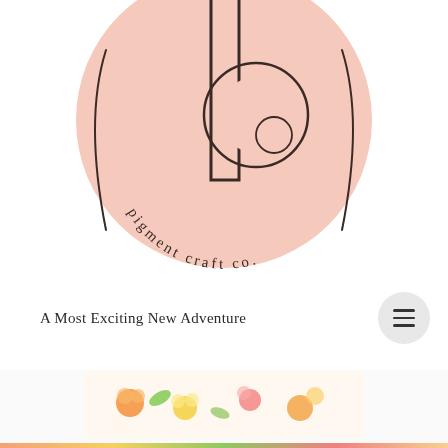[Figure (logo): Pigment Craft Co. logo: large pink circle with a stylized lowercase 'p' in dark outline and the text 'pigment craft co.' curved along the bottom inside the circle. Circular arcs and a pill/rectangle shape form the lettermark.]
A Most Exciting New Adventure
[Figure (photo): Partial view of a colorful floral fabric or craft product at the bottom of the page, showing orange, yellow, and green flower patterns on a white background.]